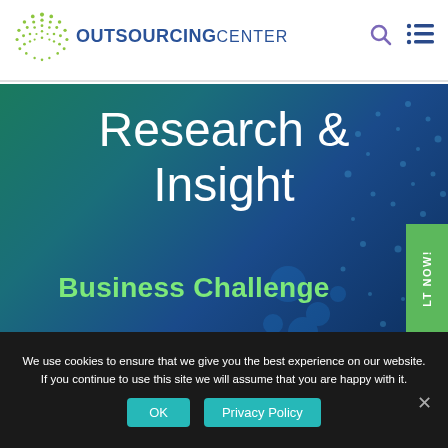[Figure (logo): Outsourcing Center logo with green dot circle and blue text reading OUTSOURCING CENTER]
Research & Insight
Business Challenge
We use cookies to ensure that we give you the best experience on our website. If you continue to use this site we will assume that you are happy with it.
OK
Privacy Policy